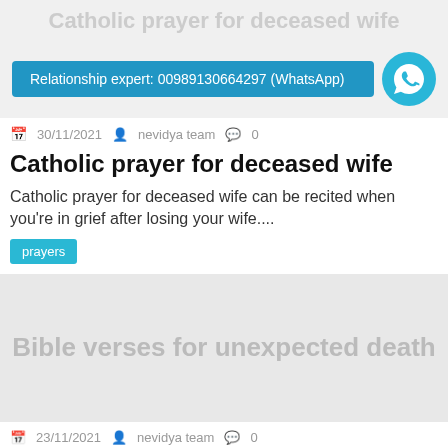Catholic prayer for deceased wife
[Figure (other): Relationship expert WhatsApp banner with phone icon]
30/11/2021  nevidya team  0
Catholic prayer for deceased wife
Catholic prayer for deceased wife can be recited when you're in grief after losing your wife....
prayers
[Figure (other): Placeholder image with text: Bible verses for unexpected death]
23/11/2021  nevidya team  0